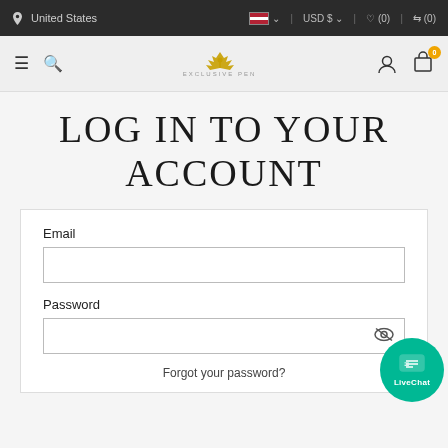United States | USD $ | ♡ (0) | ⇄ (0)
[Figure (screenshot): Navigation bar with hamburger menu, search icon, Exclusive Pen logo, user account icon, and shopping cart with 0 badge]
LOG IN TO YOUR ACCOUNT
Email
Password
Forgot your password?